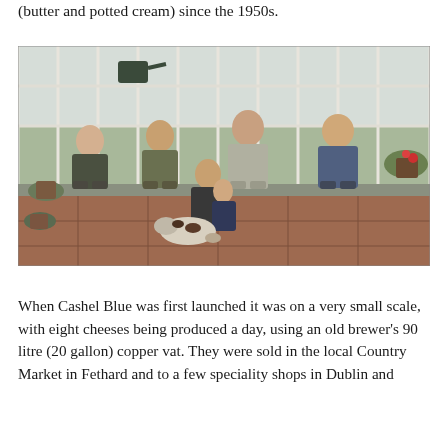(butter and potted cream) since the 1950s.
[Figure (photo): Family group photograph taken in a conservatory/greenhouse. Four adults sit on a bench in front of large windows with a green outdoor view. A younger woman sits in front holding a young boy, with a spaniel dog at their feet. Plants and pots are visible on the sides. The floor is terracotta tile.]
When Cashel Blue was first launched it was on a very small scale, with eight cheeses being produced a day, using an old brewer's 90 litre (20 gallon) copper vat. They were sold in the local Country Market in Fethard and to a few speciality shops in Dublin and